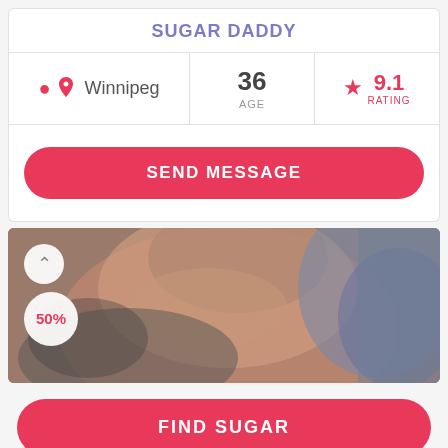SUGAR DADDY
Winnipeg | 36 AGE | 9.1 RATING
SEND MESSAGE
[Figure (photo): Blurred close-up photo of a man's head/face from above, with a 50% badge and chevron up button overlaid on the left side]
FIND SUGAR